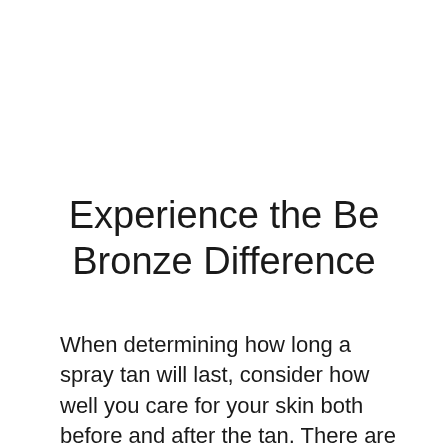Experience the Be Bronze Difference
When determining how long a spray tan will last, consider how well you care for your skin both before and after the tan. There are many things you can do to extend the life of your tan, from not exfoliating to not using oil-based moisturizers. Shave and exfoliate at least 1-2 hours before your tan...